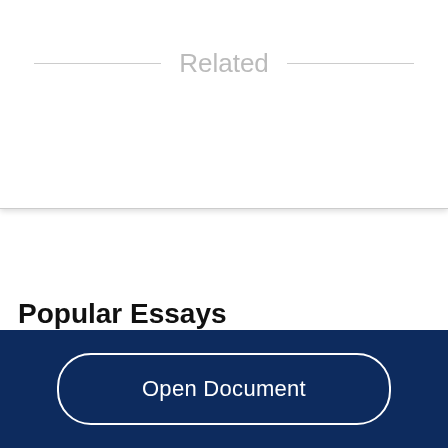Related
Popular Essays
PTZ Camera Case Study
Open Document